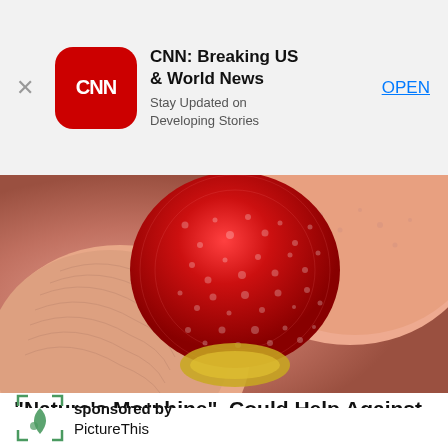[Figure (screenshot): CNN app banner ad with CNN logo, title 'CNN: Breaking US & World News', subtitle 'Stay Updated on Developing Stories', and an OPEN button]
[Figure (photo): Close-up macro photo of fingers holding a red seed or berry with textured surface]
"Nature's Morphine", Could Help Against Joint Pain & Arthritis
Sponsored: behealth.space
[Figure (logo): PictureThis sponsored by logo with green leaf icon in corner-bracket frame]
sponsored by PictureThis